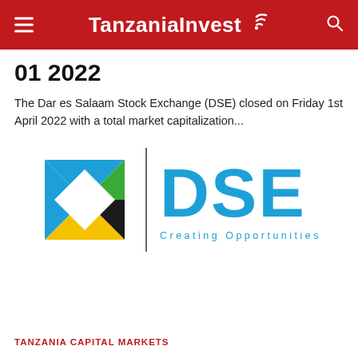TanzaniaInvest
01 2022
The Dar es Salaam Stock Exchange (DSE) closed on Friday 1st April 2022 with a total market capitalization...
[Figure (logo): DSE (Dar es Salaam Stock Exchange) logo with geometric square icon in blue, green, yellow, and black, a vertical divider, large blue 'DSE' lettering, and tagline 'Creating Opportunities']
TANZANIA CAPITAL MARKETS